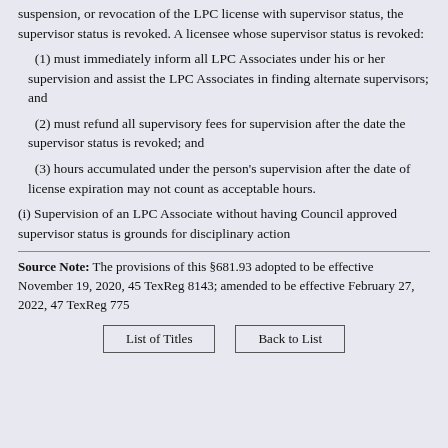suspension, or revocation of the LPC license with supervisor status, the supervisor status is revoked. A licensee whose supervisor status is revoked:
(1) must immediately inform all LPC Associates under his or her supervision and assist the LPC Associates in finding alternate supervisors; and
(2) must refund all supervisory fees for supervision after the date the supervisor status is revoked; and
(3) hours accumulated under the person's supervision after the date of license expiration may not count as acceptable hours.
(i) Supervision of an LPC Associate without having Council approved supervisor status is grounds for disciplinary action
Source Note: The provisions of this §681.93 adopted to be effective November 19, 2020, 45 TexReg 8143; amended to be effective February 27, 2022, 47 TexReg 775
List of Titles   Back to List